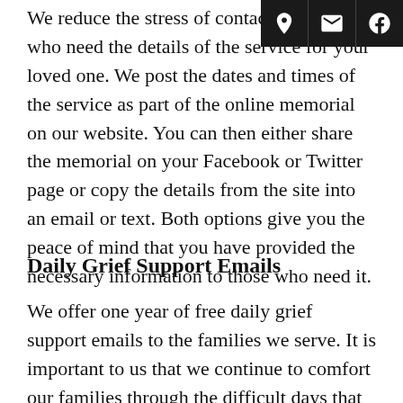[Figure (other): Icon bar in top-right corner with three icons: a location/download pin, an envelope, and a Facebook logo, on a dark background.]
We reduce the stress of contacting those who need the details of the service for your loved one. We post the dates and times of the service as part of the online memorial on our website. You can then either share the memorial on your Facebook or Twitter page or copy the details from the site into an email or text. Both options give you the peace of mind that you have provided the necessary information to those who need it.
Daily Grief Support Emails
We offer one year of free daily grief support emails to the families we serve. It is important to us that we continue to comfort our families through the difficult days that follow a loss from us.